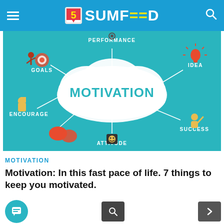SUMFEED
[Figure (infographic): Motivation infographic on teal background showing a white cloud shape with 'MOTIVATION' text in the center, surrounded by icons and labels: PERFORMANCE (top, gear icon), IDEA (right, lightbulb icon), SUCCESS (bottom-right, person raising hand), ATTITUDE (bottom, smiling face icon), ENCOURAGE (left, thumbs up icon), GOALS (upper-left, person with target icon)]
MOTIVATION
Motivation: In this fast pace of life. 7 things to keep you motivated.
10 months ago